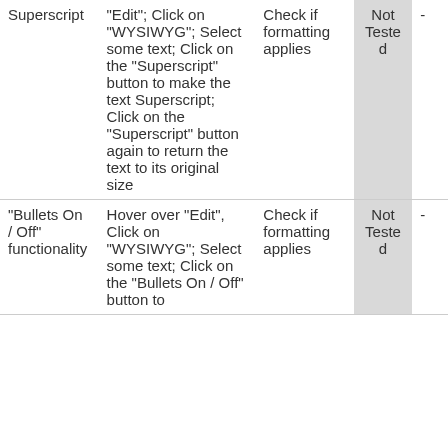| Feature | Steps | Expected Result | Status | Notes |
| --- | --- | --- | --- | --- |
| Superscript | "Edit"; Click on "WYSIWYG"; Select some text; Click on the "Superscript" button to make the text Superscript; Click on the "Superscript" button again to return the text to its original size | Check if formatting applies | Not Tested | - |
| "Bullets On / Off" functionality | Hover over "Edit", Click on "WYSIWYG"; Select some text; Click on the "Bullets On / Off" button to | Check if formatting applies | Not Tested | - |